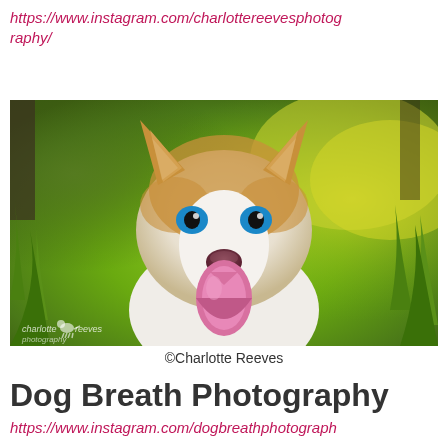https://www.instagram.com/charlottereevesphotography/
[Figure (photo): A Siberian Husky dog with blue eyes, red and white fur, tongue out, sitting in green and yellow-lit grass with trees in background. Watermark reads 'charlotte reeves photography' in bottom left.]
©Charlotte Reeves
Dog Breath Photography
https://www.instagram.com/dogbreathphotograph